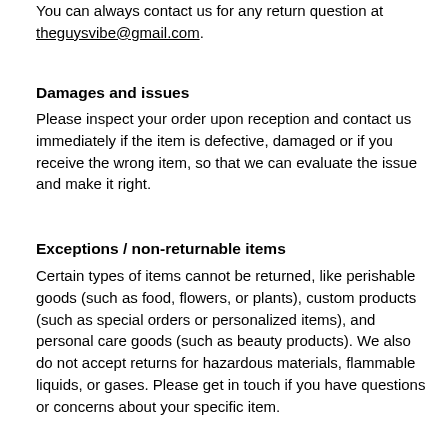You can always contact us for any return question at theguysvibe@gmail.com.
Damages and issues
Please inspect your order upon reception and contact us immediately if the item is defective, damaged or if you receive the wrong item, so that we can evaluate the issue and make it right.
Exceptions / non-returnable items
Certain types of items cannot be returned, like perishable goods (such as food, flowers, or plants), custom products (such as special orders or personalized items), and personal care goods (such as beauty products). We also do not accept returns for hazardous materials, flammable liquids, or gases. Please get in touch if you have questions or concerns about your specific item.